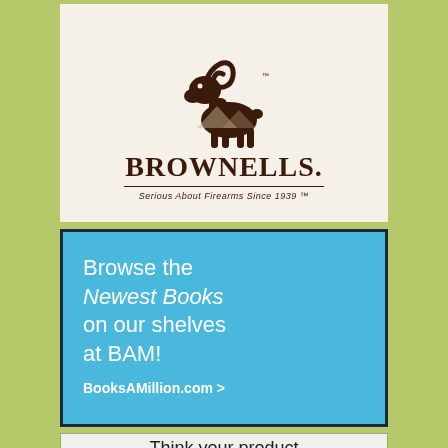[Figure (logo): Brownells logo featuring a bighorn ram illustration above the BROWNELLS wordmark with tagline 'Serious About Firearms Since 1939' on a cream background]
[Figure (infographic): Books-A-Million (BAM) advertisement on blue background reading 'Browse the Newest Books on our shelves at BAM!' with link 'BooksAMillion.com >']
Think your product